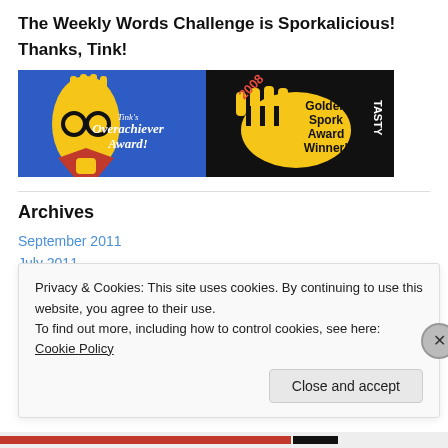The Weekly Words Challenge is Sporkalicious!
Thanks, Tink!
[Figure (illustration): Two award badge images side by side: left shows Tink's Overachiever Award with a yellow spork character wearing glasses on a blue background; right shows 2008 Golden Spork Award Winner on a black background with yellow spork and TASTY text.]
Archives
September 2011
July 2011
Privacy & Cookies: This site uses cookies. By continuing to use this website, you agree to their use.
To find out more, including how to control cookies, see here: Cookie Policy
Close and accept